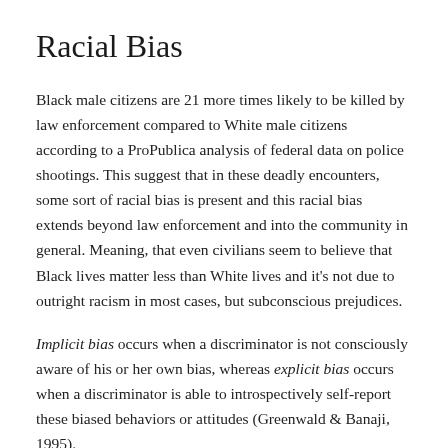Racial Bias
Black male citizens are 21 more times likely to be killed by law enforcement compared to White male citizens according to a ProPublica analysis of federal data on police shootings. This suggest that in these deadly encounters, some sort of racial bias is present and this racial bias extends beyond law enforcement and into the community in general. Meaning, that even civilians seem to believe that Black lives matter less than White lives and it’s not due to outright racism in most cases, but subconscious prejudices.
Implicit bias occurs when a discriminator is not consciously aware of his or her own bias, whereas explicit bias occurs when a discriminator is able to introspectively self-report these biased behaviors or attitudes (Greenwald & Banaji, 1995).
In Black and blue: Exploring racial bias and law enforcement in